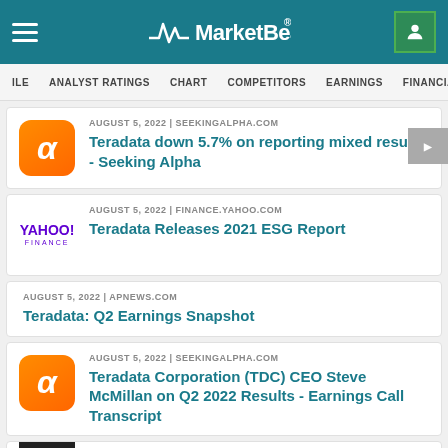MarketBeat
ILE | ANALYST RATINGS | CHART | COMPETITORS | EARNINGS | FINANCIALS > IN
AUGUST 5, 2022 | SEEKINGALPHA.COM
Teradata down 5.7% on reporting mixed results - Seeking Alpha
AUGUST 5, 2022 | FINANCE.YAHOO.COM
Teradata Releases 2021 ESG Report
AUGUST 5, 2022 | APNEWS.COM
Teradata: Q2 Earnings Snapshot
AUGUST 5, 2022 | SEEKINGALPHA.COM
Teradata Corporation (TDC) CEO Steve McMillan on Q2 2022 Results - Earnings Call Transcript
AUGUST 5, 2022 | INVESTING.COM